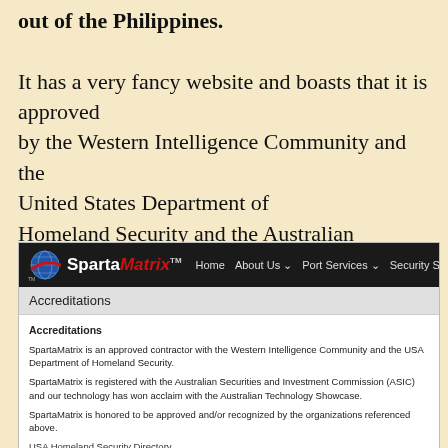out of the Philippines. It has a very fancy website and boasts that it is approved by the Western Intelligence Community and the United States Department of Homeland Security and the Australian Securities and Investment Commission (ASIC).
[Figure (screenshot): Screenshot of the SpartaMatrix website showing the navigation bar with logo and links (Home, About Us, Port Services, Security Services) and an Accreditations section. The accreditations text states SpartaMatrix is an approved contractor with the Western Intelligence Community and the USA Department of Homeland Security, is registered with ASIC, and technology has won acclaim with the Australian Technology Showcase. Includes a 'Click here' link for USA Homeland Security Directory.]